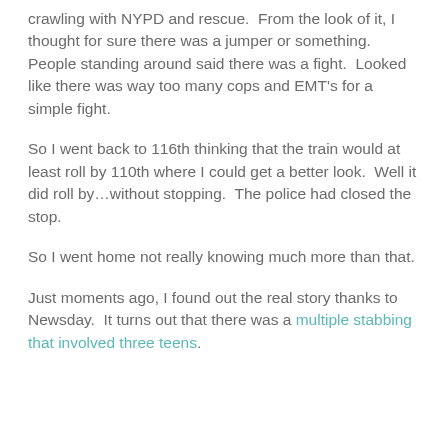crawling with NYPD and rescue.  From the look of it, I thought for sure there was a jumper or something.  People standing around said there was a fight.  Looked like there was way too many cops and EMT's for a simple fight.
So I went back to 116th thinking that the train would at least roll by 110th where I could get a better look.  Well it did roll by…without stopping.  The police had closed the stop.
So I went home not really knowing much more than that.
Just moments ago, I found out the real story thanks to Newsday.  It turns out that there was a multiple stabbing that involved three teens.